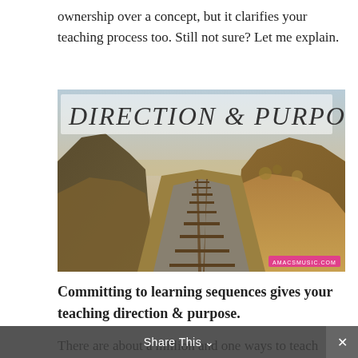ownership over a concept, but it clarifies your teaching process too. Still not sure? Let me explain.
[Figure (photo): Railroad tracks stretching to a vanishing point in a dry landscape under a hazy sky, with the text 'DIRECTION & PURPOSE' overlaid in the upper left and a watermark 'amacsmusic.com' in the lower right.]
Committing to learning sequences gives your teaching direction & purpose.
There are about a million and one ways to teach each and every concept. One day you might use this song,
Share This ∨  ✕